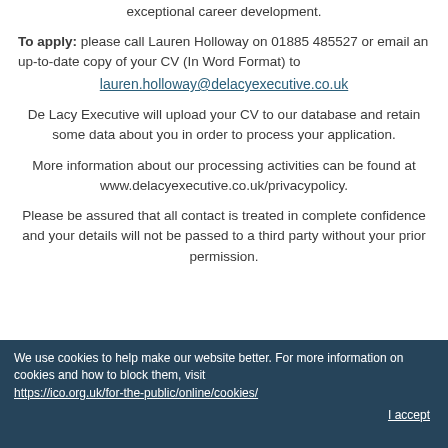rewarded with an excellent remuneration package and exceptional career development.
To apply: please call Lauren Holloway on 01885 485527 or email an up-to-date copy of your CV (In Word Format) to lauren.holloway@delacyexecutive.co.uk
De Lacy Executive will upload your CV to our database and retain some data about you in order to process your application.
More information about our processing activities can be found at www.delacyexecutive.co.uk/privacypolicy.
Please be assured that all contact is treated in complete confidence and your details will not be passed to a third party without your prior permission.
We use cookies to help make our website better. For more information on cookies and how to block them, visit https://ico.org.uk/for-the-public/online/cookies/ I accept